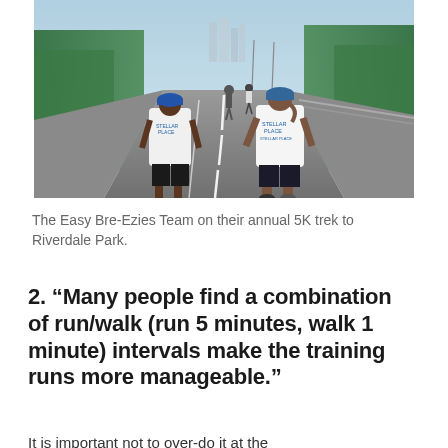[Figure (photo): Group of runners wearing 'Stellar Place' branded white t-shirts walking/running on a road toward the camera from behind, with green trees lining both sides of the road and city buildings visible in the background on a sunny day.]
The Easy Bre-Ezies Team on their annual 5K trek to Riverdale Park.
2. “Many people find a combination of run/walk (run 5 minutes, walk 1 minute) intervals make the training runs more manageable.”
It is important not to over-do it at the